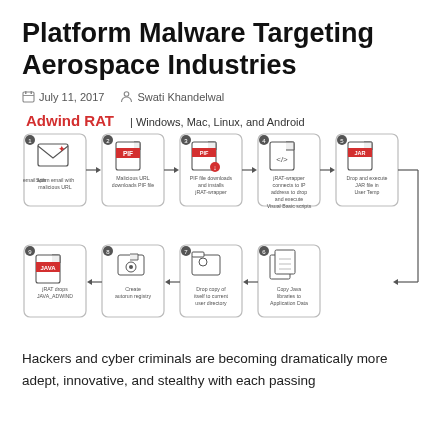Platform Malware Targeting Aerospace Industries
July 11, 2017   Swati Khandelwal
[Figure (flowchart): Adwind RAT infection chain flowchart showing 9 steps: 1) Spam email with malicious URL, 2) Malicious URL downloads PIF file, 3) PIF file downloads and installs jRAT-wrapper, 4) jRAT-wrapper connects to IP address to drop and execute Visual Basic scripts, 5) Drop and execute JAR file in User Temp, 6) Copy Java libraries to Application Data, 7) Drop copy of itself to current user directory, 8) Create autorun registry, 9) jRAT drops JAVA_ADWIND. Title: Adwind RAT | Windows, Mac, Linux, and Android]
Hackers and cyber criminals are becoming dramatically more adept, innovative, and stealthy with each passing